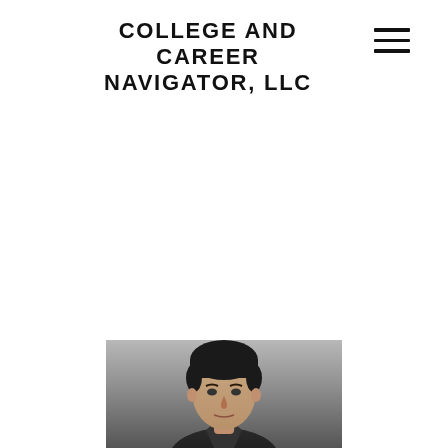COLLEGE AND CAREER NAVIGATOR, LLC
[Figure (photo): Hamburger menu icon (three horizontal lines) in the top right corner]
[Figure (photo): Portrait photo of a person, cropped at the bottom of the page, showing head and shoulders against a grey background]